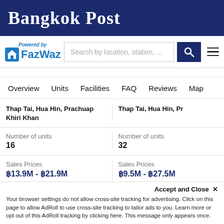Bangkok Post
[Figure (logo): FazWaz logo with house icon and search bar]
Overview | Units | Facilities | FAQ | Reviews | Map
| Property 1 | Property 2 |
| --- | --- |
| Thap Tai, Hua Hin, Prachuap Khiri Khan | Thap Tai, Hua Hin, Pr |
| Number of units: 16 | Number of units: 32 |
| Sales Prices: ฿13.9M - ฿21.9M, -6% underpriced | Sales Prices: ฿9.5M - ฿27.5M, 1.7% overpriced |
| Monthly Rentals: ฿75K | Monthly Rentals: N/A |
Accept and Close ✕
Your browser settings do not allow cross-site tracking for advertising. Click on this page to allow AdRoll to use cross-site tracking to tailor ads to you. Learn more or opt out of this AdRoll tracking by clicking here. This message only appears once.